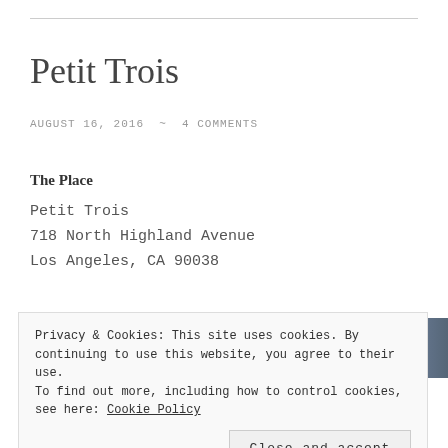Petit Trois
AUGUST 16, 2016  ~  4 COMMENTS
The Place
Petit Trois
718 North Highland Avenue
Los Angeles, CA 90038
[Figure (photo): Photo strip of restaurant interior]
Privacy & Cookies: This site uses cookies. By continuing to use this website, you agree to their use.
To find out more, including how to control cookies, see here: Cookie Policy
Close and accept